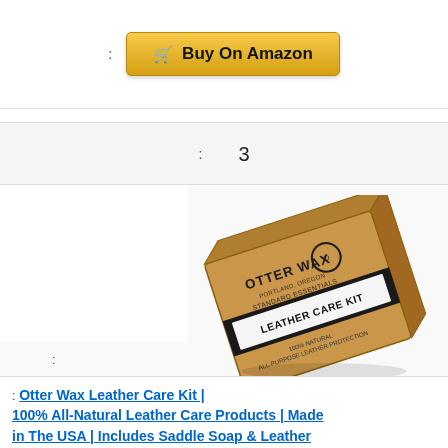: Buy On Amazon
: 3
[Figure (photo): Otter Wax Leather Care Kit product box, angled view, kraft brown cardboard with black band and white label reading LEATHER CARE KIT, STANDARD ESSENTIALS, Portland Oregon, 100% Natural, All-Purpose Leather Protection]
:
: Otter Wax Leather Care Kit | 100% All-Natural Leather Care Products | Made in The USA | Includes Saddle Soap & Leather Salve | Color Safe | Ideal for Shoes, Boots